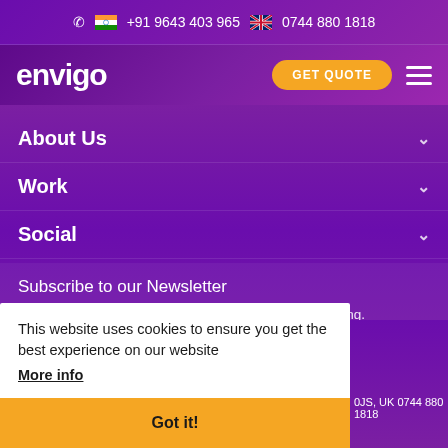+91 9643 403 965  0744 880 1818
envigo
About Us
Work
Social
Subscribe to our Newsletter
You will receive a monthly newsletter on Digital Marketing. See the latest issue of our newsletter.
This website uses cookies to ensure you get the best experience on our website More info
Got it!
0JS, UK 0744 880 1818